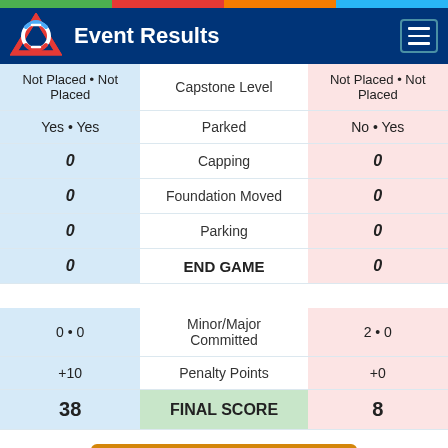Event Results
| Left Team | Category | Right Team |
| --- | --- | --- |
| Not Placed • Not Placed | Capstone Level | Not Placed • Not Placed |
| Yes • Yes | Parked | No • Yes |
| 0 | Capping | 0 |
| 0 | Foundation Moved | 0 |
| 0 | Parking | 0 |
| 0 | END GAME | 0 |
| 0 • 0 | Minor/Major Committed | 2 • 0 |
| +10 | Penalty Points | +0 |
| 38 | FINAL SCORE | 8 |
Return to Qualification Matches